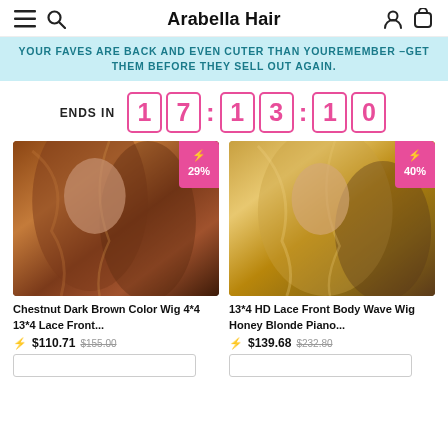Arabella Hair
YOUR FAVES ARE BACK AND EVEN CUTER THAN YOUREMEMBER –GET THEM BEFORE THEY SELL OUT AGAIN.
ENDS IN 17 : 13 : 10
[Figure (photo): Chestnut dark brown wavy wig worn by model, with 29% discount badge]
[Figure (photo): Honey blonde piano highlight wavy wig worn by model, with 40% discount badge]
Chestnut Dark Brown Color Wig 4*4 13*4 Lace Front...
13*4 HD Lace Front Body Wave Wig Honey Blonde Piano...
$110.71  $155.00
$139.68  $232.80